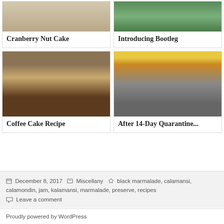[Figure (photo): Partial view of Cranberry Nut Cake photo at top]
Cranberry Nut Cake
[Figure (photo): Partial view of Introducing Bootleg photo at top]
Introducing Bootleg
[Figure (photo): Coffee cake on a plate with blueberries and sauce]
Coffee Cake Recipe
[Figure (photo): Street scene with LLR Dry Goods store and LTE sign]
After 14-Day Quarantine...
Posted December 8, 2017  Categories Miscellany  Tags black marmalade, calamansi, calamondin, jam, kalamansi, marmalade, preserve, recipes  Leave a comment
Proudly powered by WordPress